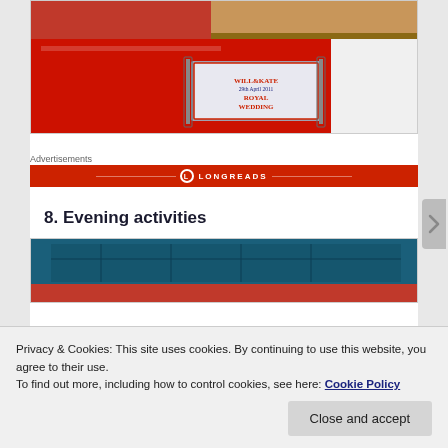[Figure (photo): Photo of red kitchen cabinet with a Royal Wedding tin/biscuit tin visible in a drawer or shelf. Wood countertop visible at top right.]
Advertisements
[Figure (logo): Longreads advertisement banner in red with white logo and text]
8. Evening activities
[Figure (photo): Partially visible photo with teal/dark blue and red tones, likely a board game or activity.]
Privacy & Cookies: This site uses cookies. By continuing to use this website, you agree to their use.
To find out more, including how to control cookies, see here: Cookie Policy
Close and accept